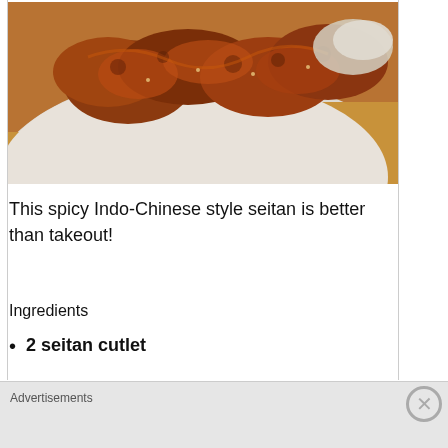[Figure (photo): Spicy Indo-Chinese style seitan pieces on a white plate, with a saucy glaze, served on a wooden surface. The food pieces are golden-brown and crispy looking with sauce coating.]
This spicy Indo-Chinese style seitan is better than takeout!
Ingredients
2 seitan cutlet
Advertisements